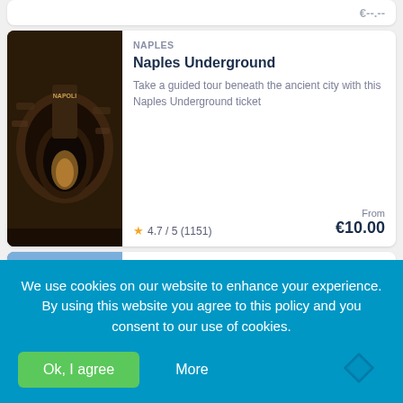[Figure (photo): Partial top listing card with cropped image and price partially visible]
NAPLES
Naples Underground
Take a guided tour beneath the ancient city with this Naples Underground ticket
4.7 / 5 (1151)
From €10.00
[Figure (photo): Photo of vineyard at foot of Vesuvius mountain]
TRECASE
Wine Tasting on the Vesuvius
Wine, cheese, and a sit-down feast at the foot of Vesuvius
4.6 / 5 (8)
From €35.00
We use cookies on our website to enhance your experience. By using this website you agree to this policy and you consent to our use of cookies.
Ok, I agree
More